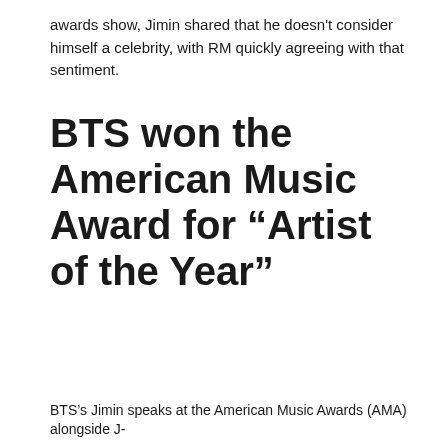awards show, Jimin shared that he doesn't consider himself a celebrity, with RM quickly agreeing with that sentiment.
BTS won the American Music Award for “Artist of the Year”
BTS’s Jimin speaks at the American Music Awards (AMA) alongside J-